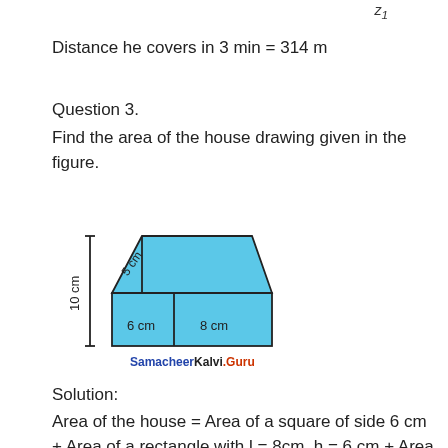Distance he covers in 3 min = 314 m
Question 3.
Find the area of the house drawing given in the figure.
[Figure (illustration): House drawing with a trapezoid roof and rectangular body. Labels: 5 cm on roof slant, 10 cm height on left side, 6 cm for left section width, 8 cm for right section width. Watermark: SamacheerKalvi.Guru]
Solution:
Area of the house = Area of a square of side 6 cm + Area of a rectangle with l = 8cm, h = 6 cm + Area of a Δ with b = 6 cm and h = 4 cm +